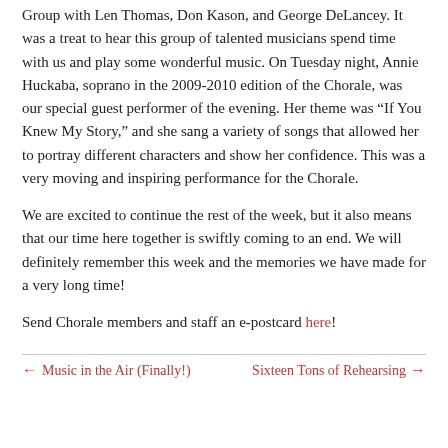Group with Len Thomas, Don Kason, and George DeLancey. It was a treat to hear this group of talented musicians spend time with us and play some wonderful music. On Tuesday night, Annie Huckaba, soprano in the 2009-2010 edition of the Chorale, was our special guest performer of the evening. Her theme was “If You Knew My Story,” and she sang a variety of songs that allowed her to portray different characters and show her confidence. This was a very moving and inspiring performance for the Chorale.
We are excited to continue the rest of the week, but it also means that our time here together is swiftly coming to an end. We will definitely remember this week and the memories we have made for a very long time!
Send Chorale members and staff an e-postcard here!
← Music in the Air (Finally!)    Sixteen Tons of Rehearsing →